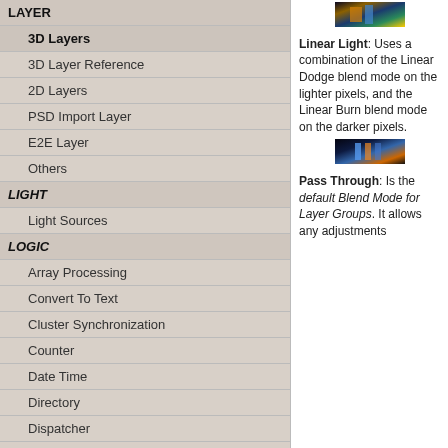LAYER
3D Layers
3D Layer Reference
2D Layers
PSD Import Layer
E2E Layer
Others
LIGHT
Light Sources
LOGIC
Array Processing
Convert To Text
Cluster Synchronization
Counter
Date Time
Directory
Dispatcher
[Figure (photo): Small thumbnail showing a dark image with orange/blue/teal color gradient – Linear Light blend mode example]
Linear Light: Uses a combination of the Linear Dodge blend mode on the lighter pixels, and the Linear Burn blend mode on the darker pixels.
[Figure (photo): Small thumbnail showing a dark image with blue/orange tones – Pass Through blend mode example]
Pass Through: Is the default Blend Mode for Layer Groups. It allows any adjustments